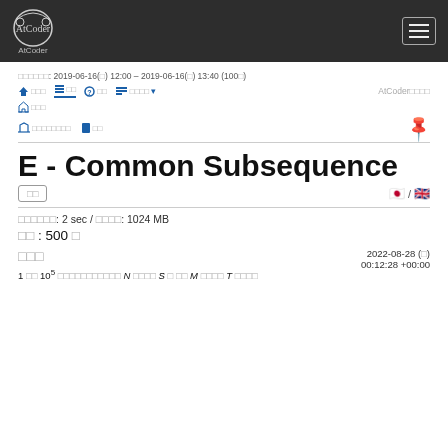AtCoder navigation header
コンテスト期間: 2019-06-16(日) 12:00 – 2019-06-16(日) 13:40 (100分)
ホーム 問題 質問 順位表▼ AtCoderの使い方 提出結果
絞り込み設定 編集
E - Common Subsequence
実行時間制限: 2 sec / メモリ制限: 1024 MB
配点: 500 点
問題文 2022-08-28 (日) 00:12:28 +00:00
1 以上 10^5 以下の整数からなる N 要素の列 S と M 要素の列 T が与えられ